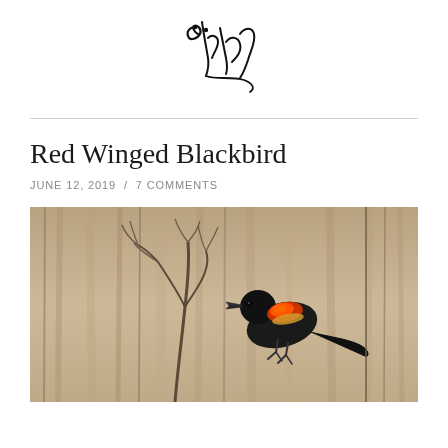[Figure (illustration): Stylized handwritten signature/logo in black ink on white background]
Red Winged Blackbird
JUNE 12, 2019 / 7 COMMENTS
[Figure (photo): A red-winged blackbird perched on dry brush/twigs, showing distinctive orange-red wing patch, against a blurred tan/beige background of marsh reeds]